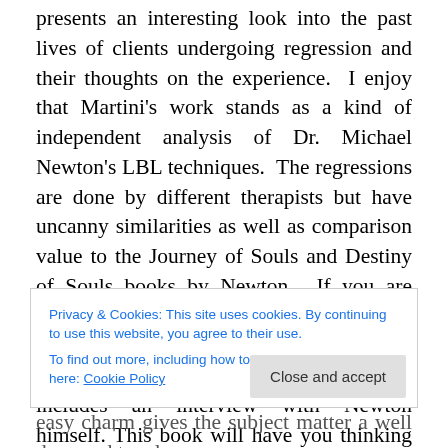presents an interesting look into the past lives of clients undergoing regression and their thoughts on the experience.  I enjoy that Martini's work stands as a kind of independent analysis of Dr. Michael Newton's LBL techniques.  The regressions are done by different therapists but have uncanny similarities as well as comparison value to the Journey of Souls and Destiny of Souls books by Newton.  If you are interested in past-life regression, or have enjoyed the books by Newton, I highly recommend this book. Martini even includes an interview with Newton himself. This book will have you thinking very
Privacy & Cookies: This site uses cookies. By continuing to use this website, you agree to their use.
To find out more, including how to control cookies, see here: Cookie Policy
Close and accept
easy charm gives the subject matter a well deserved tonal